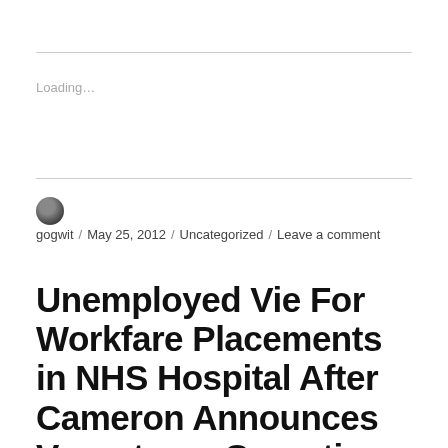Loading...
gogwit / May 25, 2012 / Uncategorized / Leave a comment
Unemployed Vie For Workfare Placements in NHS Hospital After Cameron Announces Vasectomy Operation